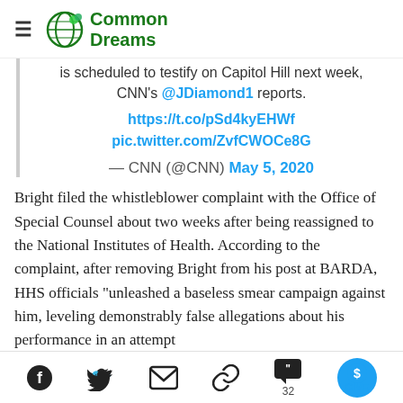Common Dreams
is scheduled to testify on Capitol Hill next week, CNN's @JDiamond1 reports. https://t.co/pSd4kyEHWf pic.twitter.com/ZvfCWOCe8G — CNN (@CNN) May 5, 2020
Bright filed the whistleblower complaint with the Office of Special Counsel about two weeks after being reassigned to the National Institutes of Health. According to the complaint, after removing Bright from his post at BARDA, HHS officials "unleashed a baseless smear campaign against him, leveling demonstrably false allegations about his performance in an attempt
Social share icons: Facebook, Twitter, Email, Link, Comments (32), Give